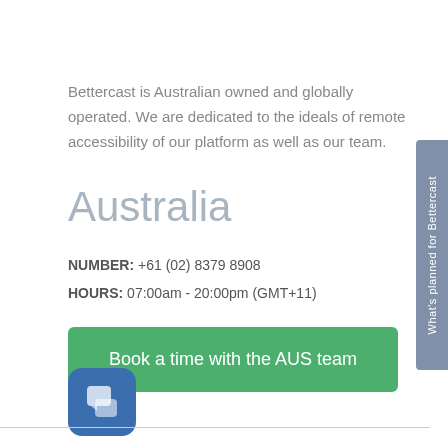Bettercast is Australian owned and globally operated. We are dedicated to the ideals of remote accessibility of our platform as well as our team.
Australia
NUMBER: +61 (02) 8379 8908
HOURS: 07:00am - 20:00pm (GMT+11)
[Figure (other): Green button labeled 'Book a time with the AUS team']
[Figure (logo): Blue rounded square chat/messaging icon]
[Figure (other): Vertical sidebar tab reading 'What's planned for Bettercast']